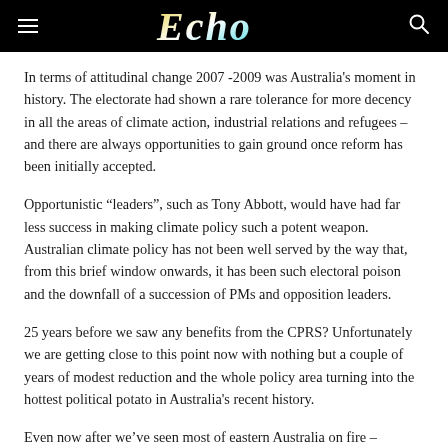Echo
In terms of attitudinal change 2007 -2009 was Australia’s moment in history. The electorate had shown a rare tolerance for more decency in all the areas of climate action, industrial relations and refugees – and there are always opportunities to gain ground once reform has been initially accepted.
Opportunistic “leaders”, such as Tony Abbott, would have had far less success in making climate policy such a potent weapon. Australian climate policy has not been well served by the way that, from this brief window onwards, it has been such electoral poison and the downfall of a succession of PMs and opposition leaders.
25 years before we saw any benefits from the CPRS? Unfortunately we are getting close to this point now with nothing but a couple of years of modest reduction and the whole policy area turning into the hottest political potato in Australia’s recent history.
Even now after we’ve seen most of eastern Australia on fire –